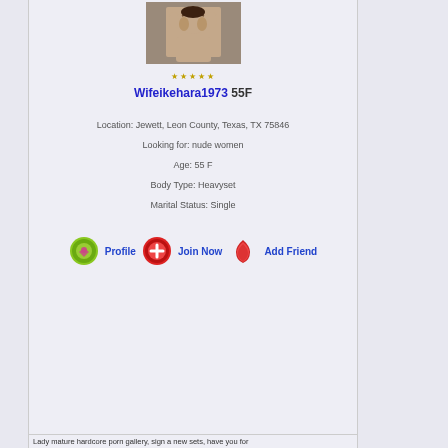[Figure (photo): Profile photo of person]
Wifeikehara1973 55F
Location: Jewett, Leon County, Texas, TX 75846
Looking for: nude women
Age: 55 F
Body Type: Heavyset
Marital Status: Single
[Figure (infographic): Profile, Join Now, Add Friend buttons with icons]
Lady mature hardcore porn gallery, sign a new sets, have you for